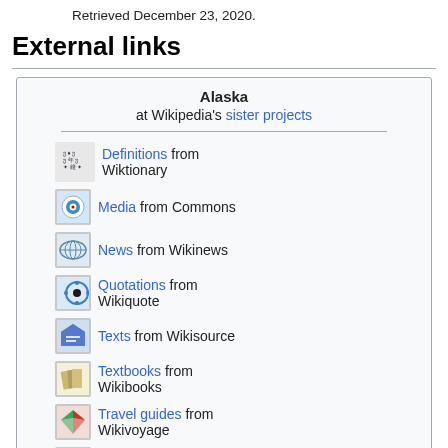Retrieved December 23, 2020.
External links
Definitions from Wiktionary
Media from Commons
News from Wikinews
Quotations from Wikiquote
Texts from Wikisource
Textbooks from Wikibooks
Travel guides from Wikivoyage
Resources from Wikiversity